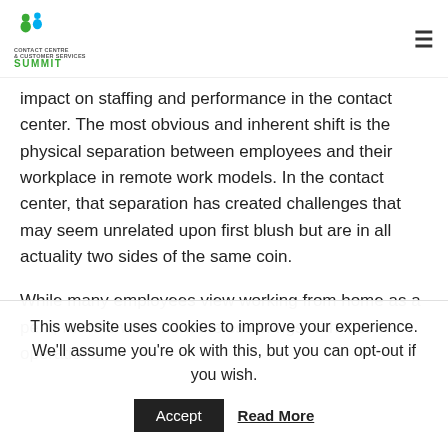Contact Centre & Customer Services Summit
impact on staffing and performance in the contact center. The most obvious and inherent shift is the physical separation between employees and their workplace in remote work models. In the contact center, that separation has created challenges that may seem unrelated upon first blush but are in all actuality two sides of the same coin.
While many employees view working from home as a perk, remote work nonetheless brings with it some operational
This website uses cookies to improve your experience. We'll assume you're ok with this, but you can opt-out if you wish.
Accept   Read More